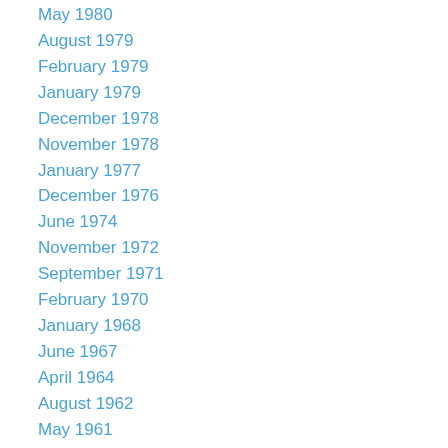May 1980
August 1979
February 1979
January 1979
December 1978
November 1978
January 1977
December 1976
June 1974
November 1972
September 1971
February 1970
January 1968
June 1967
April 1964
August 1962
May 1961
April 1961
December 1957
January 1952